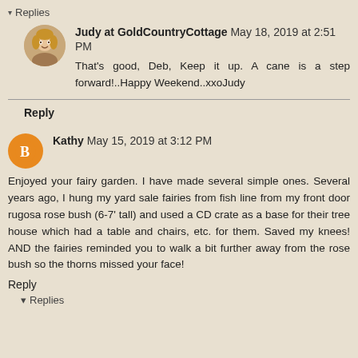▾ Replies
Judy at GoldCountryCottage May 18, 2019 at 2:51 PM
That's good, Deb, Keep it up. A cane is a step forward!..Happy Weekend..xxoJudy
Reply
Kathy May 15, 2019 at 3:12 PM
Enjoyed your fairy garden. I have made several simple ones. Several years ago, I hung my yard sale fairies from fish line from my front door rugosa rose bush (6-7' tall) and used a CD crate as a base for their tree house which had a table and chairs, etc. for them. Saved my knees! AND the fairies reminded you to walk a bit further away from the rose bush so the thorns missed your face!
Reply
▾ Replies